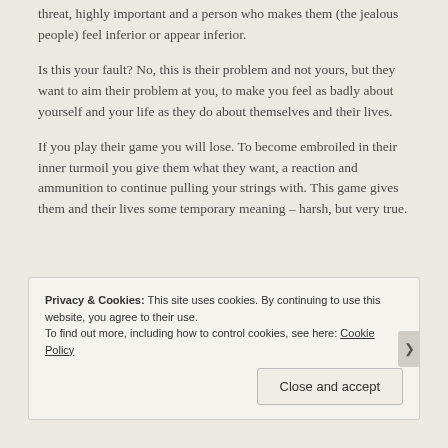threat, highly important and a person who makes them (the jealous people) feel inferior or appear inferior.
Is this your fault? No, this is their problem and not yours, but they want to aim their problem at you, to make you feel as badly about yourself and your life as they do about themselves and their lives.
If you play their game you will lose. To become embroiled in their inner turmoil you give them what they want, a reaction and ammunition to continue pulling your strings with. This game gives them and their lives some temporary meaning – harsh, but very true.
Privacy & Cookies: This site uses cookies. By continuing to use this website, you agree to their use.
To find out more, including how to control cookies, see here: Cookie Policy
Close and accept